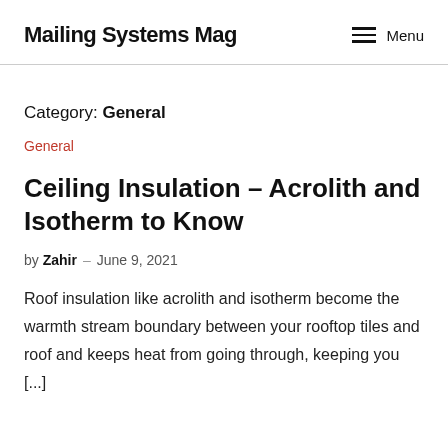Mailing Systems Mag
Category: General
General
Ceiling Insulation – Acrolith and Isotherm to Know
by Zahir – June 9, 2021
Roof insulation like acrolith and isotherm become the warmth stream boundary between your rooftop tiles and roof and keeps heat from going through, keeping you [...]